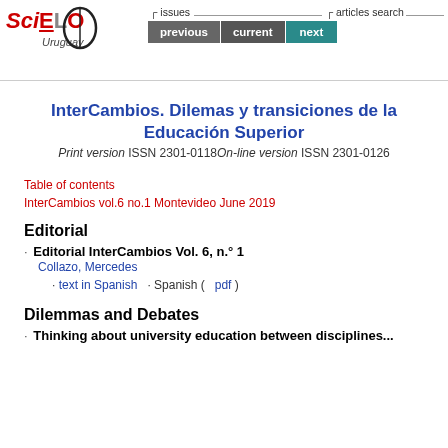[Figure (logo): SciELO Uruguay logo with navigation buttons: previous, current, next. Issues and articles search navigation bar.]
InterCambios. Dilemas y transiciones de la Educación Superior
Print version ISSN 2301-0118 On-line version ISSN 2301-0126
Table of contents
InterCambios vol.6 no.1 Montevideo June 2019
Editorial
Editorial InterCambios Vol. 6, n.° 1
Collazo, Mercedes
· text in Spanish   · Spanish (    pdf )
Dilemmas and Debates
Thinking about university education between disciplines...